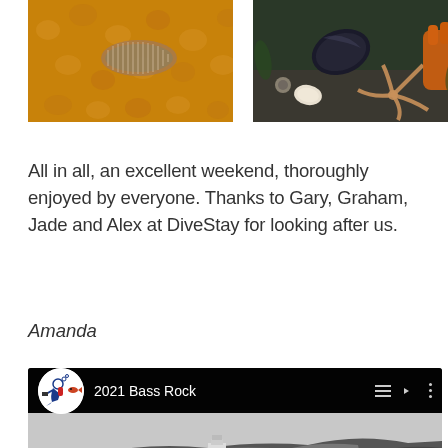[Figure (photo): Close-up underwater photo showing what appears to be a marine organism (possibly a cuttlefish or flatworm) on an orange/yellow sea anemone background]
[Figure (photo): Underwater photo showing a mussel, starfish arms, and a diver's gloved hand among rocks and marine life]
All in all, an excellent weekend, thoroughly enjoyed by everyone. Thanks to Gary, Graham, Jade and Alex at DiveStay for looking after us.
Amanda
[Figure (screenshot): YouTube video thumbnail showing '2021 Bass Rock' with a black and white image of Bass Rock (a rocky island with a lighthouse/castle) and the YouTube play button overlay. Channel logo shows a diver icon.]